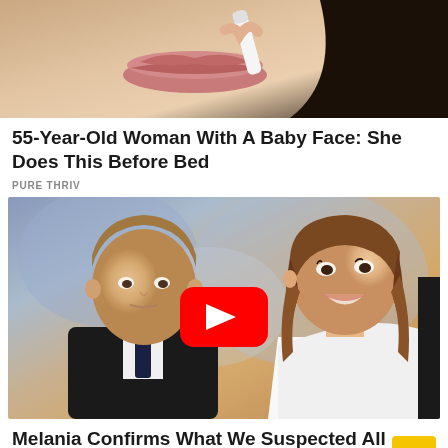[Figure (photo): Close-up photo of a woman's lower face and lips, applying something with a white object, dark hair visible]
55-Year-Old Woman With A Baby Face: She Does This Before Bed
PURE THRIV
[Figure (photo): Photo of a boy in a suit and tie alongside a woman with brown hair (Barron Trump and Melania), with a YouTube play button overlay]
Melania Confirms What We Suspected All Along About Barron Trump
INSTANTHUB